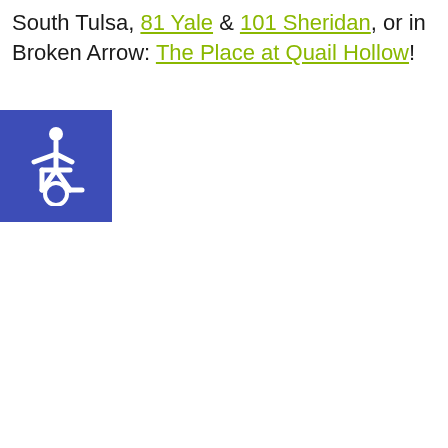South Tulsa, 81 Yale & 101 Sheridan, or in Broken Arrow: The Place at Quail Hollow!
[Figure (illustration): Blue square icon with white wheelchair accessibility symbol (ISA)]